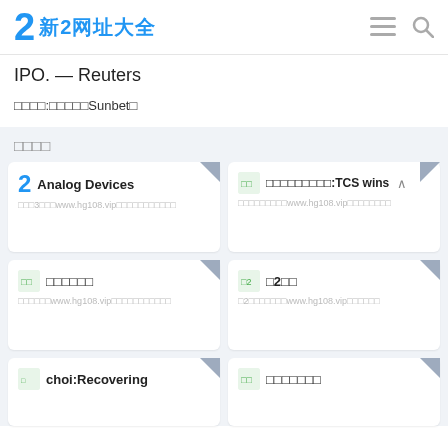新2网址大全
IPO. — Reuters
□□□□:□□□□□Sunbet□
□□□□
Analog Devices
□□□3□□□www.hg108.vip□□□□□□□□□□□
□□□□□□□□□:TCS wins
□□□□□□□□□www.hg108.vip□□□□□□□□
□□□□□□
□□□□□□www.hg108.vip□□□□□□□□□□□
□2□□
□2□□□□□□□www.hg108.vip□□□□□□
choi:Recovering
□□□□□□□